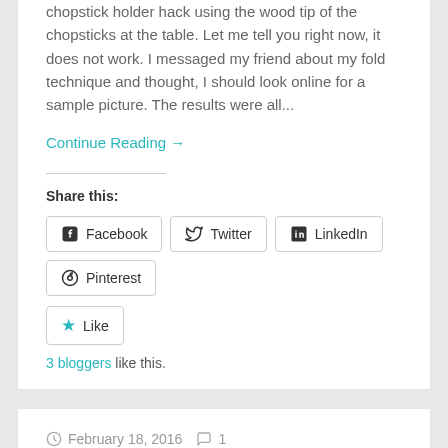chopstick holder hack using the wood tip of the chopsticks at the table. Let me tell you right now, it does not work. I messaged my friend about my fold technique and thought, I should look online for a sample picture. The results were all...
Continue Reading →
Share this:
Facebook
Twitter
LinkedIn
Pinterest
Like
3 bloggers like this.
February 18, 2016   1
Spanish-Style Slow Cooker...